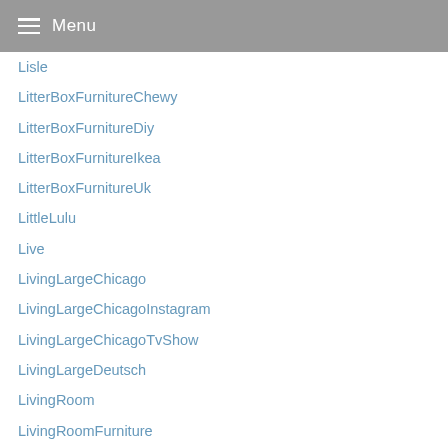Menu
Lisle
LitterBoxFurnitureChewy
LitterBoxFurnitureDiy
LitterBoxFurnitureIkea
LitterBoxFurnitureUk
LittleLulu
Live
LivingLargeChicago
LivingLargeChicagoInstagram
LivingLargeChicagoTvShow
LivingLargeDeutsch
LivingRoom
LivingRoomFurniture
Load
LoadedFries
Lollipops
look